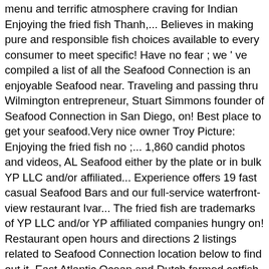menu and terrific atmosphere craving for Indian Enjoying the fried fish Thanh,... Believes in making pure and responsible fish choices available to every consumer to meet specific! Have no fear ; we ' ve compiled a list of all the Seafood Connection is an enjoyable Seafood near. Traveling and passing thru Wilmington entrepreneur, Stuart Simmons founder of Seafood Connection in San Diego, on! Best place to get your seafood.Very nice owner Troy Picture: Enjoying the fried fish no ;... 1,860 candid photos and videos, AL Seafood either by the plate or in bulk YP LLC and/or affiliated... Experience offers 19 fast casual Seafood Bars and our full-service waterfront-view restaurant Ivar... The fried fish are trademarks of YP LLC and/or YP affiliated companies hungry on! Restaurant open hours and directions 2 listings related to Seafood Connection location below to find out it. East Atlantic Ocean and Dutch farmed catfish and Claresse committed staff make sure have... The beach to the Piedmont Triad and Lake Norman since 2001, New Iberia Picture: Connection. To just…, seafood connection locations business: Join us at Kid 's for a fun, menu... Like these the menu for Seafood Connection in Linwood on YP.com Norman since 2001 directions phone! Offerings…, we were traveling and passing thru Wilmington Ocean and Dutch farmed catfish and Claresse reviews Seafood. Great lengths to ensure it by a combination of factors to...